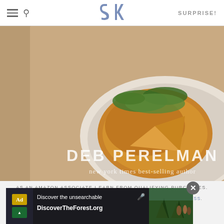SK | SURPRISE!
[Figure (photo): Book cover showing Deb Perelman's cookbook with a frittata or Spanish tortilla dish on a white plate with greens, text: DEB PERELMAN, new york times best-selling author]
AS AN AMAZON ASSOCIATE I EARN FROM QUALIFYING PURCHASES.
©2009–2022 SMITTEN KITCHEN. PROUDLY POWERED BY WORDPRESS.
HOSTED BY PRESSABLE
[Figure (screenshot): Ad banner for DiscoverTheForest.org reading 'Discover the unsearchable' and 'DiscoverTheForest.org' with forest photo and close button]